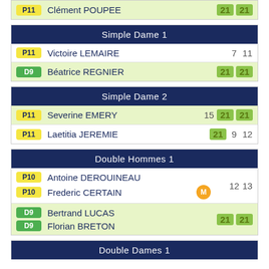| P11 | Clément POUPEE | 21 | 21 |
Simple Dame 1
| P11 | Victoire LEMAIRE | 7 | 11 |
| D9 | Béatrice REGNIER | 21 | 21 |
Simple Dame 2
| P11 | Severine EMERY | 15 | 21 | 21 |
| P11 | Laetitia JEREMIE | 21 | 9 | 12 |
Double Hommes 1
| P10 | Antoine DEROUINEAU |  |  |
| P10 | Frederic CERTAIN [M] | 12 | 13 |
| D9 | Bertrand LUCAS |  |  |
| D9 | Florian BRETON | 21 | 21 |
Double Dames 1